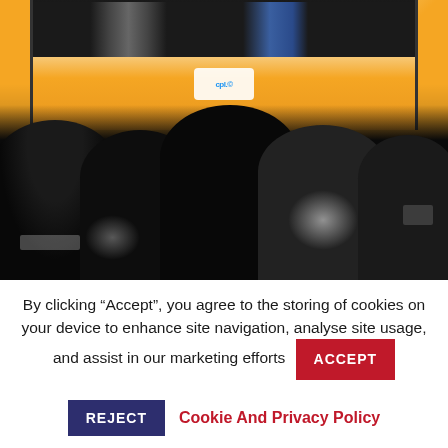[Figure (photo): Conference or event photo showing silhouettes of audience members seated facing a large projection screen displaying an orange/yellow branded slide with a logo badge visible. The audience members are in near-darkness.]
By clicking “Accept”, you agree to the storing of cookies on your device to enhance site navigation, analyse site usage, and assist in our marketing efforts
ACCEPT
REJECT
Cookie And Privacy Policy